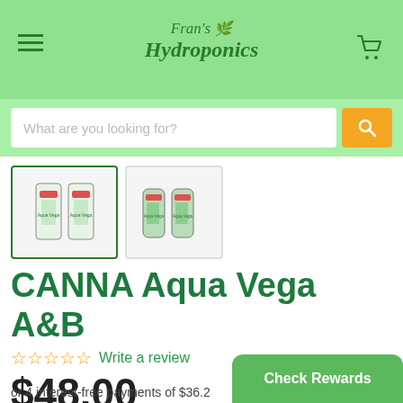Fran's Hydroponics
What are you looking for?
[Figure (photo): Two product thumbnail images of CANNA Aqua Vega A&B bottles, first highlighted with green border]
CANNA Aqua Vega A&B
☆☆☆☆☆ Write a review
$48.00
or 4 interest-free payments of $36.2